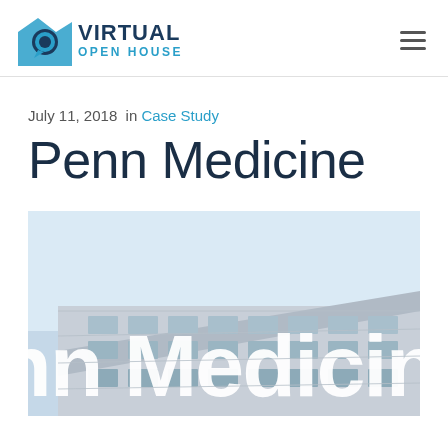Virtual Open House
July 11, 2018  in Case Study
Penn Medicine
[Figure (photo): Exterior photo of a Penn Medicine building showing the large white lettering 'Penn Medicine' on the building facade against a light blue sky]